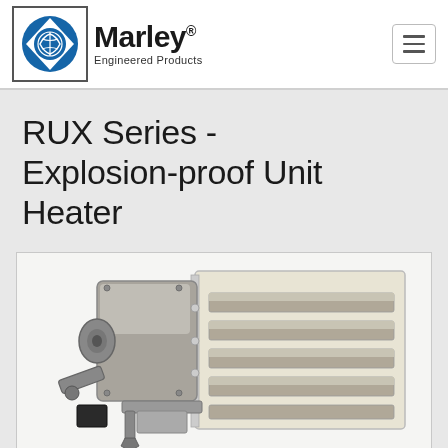[Figure (logo): Marley Engineered Products logo — circular blue emblem with hands graphic inside a square border, followed by bold 'Marley' text and 'Engineered Products' subtitle]
RUX Series - Explosion-proof Unit Heater
[Figure (photo): Photograph of RUX Series explosion-proof unit heater — cream/beige colored rectangular heater body with horizontal louver vents on the right side, and a gray metal explosion-proof motor housing with conduit connections on the left side, mounted on a bracket.]